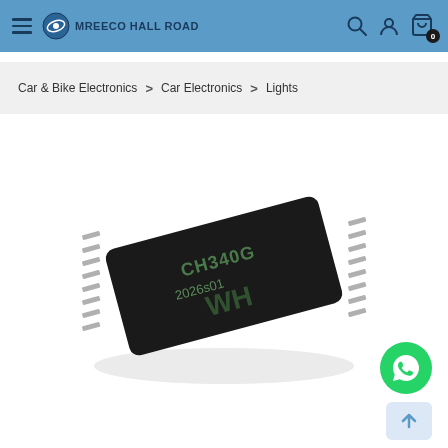MREECO HALL ROAD
Car & Bike Electronics > Car Electronics > Lights
[Figure (photo): Close-up photo of a black CH340 USB-to-serial IC chip in SOIC-16 package with multiple metallic pins on both sides. Text on chip reads: CH340G and 2026s01. Photographed on white background.]